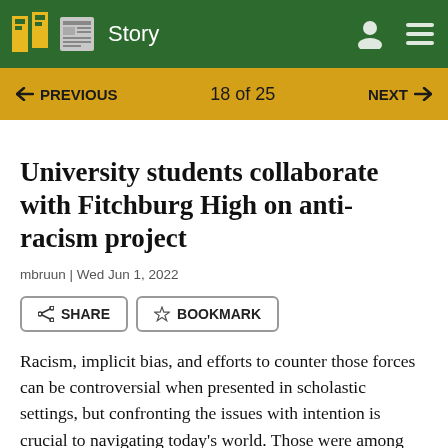Story
University students collaborate with Fitchburg High on anti-racism project
mbruun | Wed Jun 1, 2022
Racism, implicit bias, and efforts to counter those forces can be controversial when presented in scholastic settings, but confronting the issues with intention is crucial to navigating today’s world. Those were among the topics explored when teacher candidates from Fitchburg State University recently visited with students at Fitchburg High School.